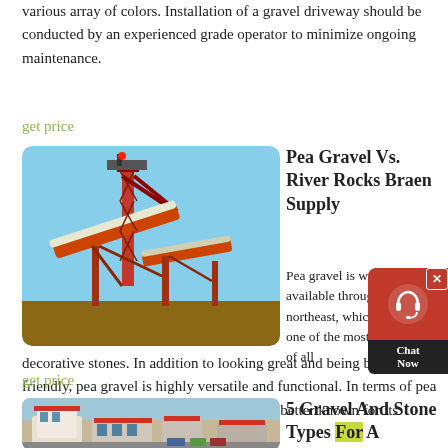various array of colors. Installation of a gravel driveway should be conducted by an experienced grade operator to minimize ongoing maintenance.
get price
[Figure (photo): Industrial conveyor/processing equipment with orange steel structures against a blue sky]
Pea Gravel Vs. River Rocks Braen Supply
Pea gravel is widely available throughout the northeast, which makes it one of the most affordable of all decorative stones. In addition to looking great and being budget-friendly, pea gravel is highly versatile and functional. In terms of pea gravel vs. river rocks, pea gravel is simply better known for its smaller size and ability to be
get price
[Figure (photo): Aerial view of industrial buildings and facility with vehicles]
5 Gravel And Stone Types For A Rockin'